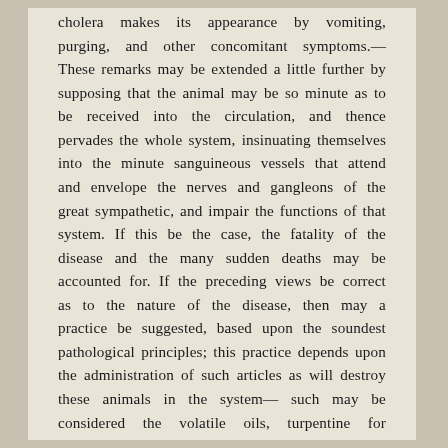cholera makes its appearance by vomiting, purging, and other concomitant symptoms.— These remarks may be extended a little further by supposing that the animal may be so minute as to be received into the circulation, and thence pervades the whole system, insinuating themselves into the minute sanguineous vessels that attend and envelope the nerves and gangleons of the great sympathetic, and impair the functions of that system. If this be the case, the fatality of the disease and the many sudden deaths may be accounted for. If the preceding views be correct as to the nature of the disease, then may a practice be suggested, based upon the soundest pathological principles; this practice depends upon the administration of such articles as will destroy these animals in the system— such may be considered the volatile oils, turpentine for instance, sulphur, several of the resins, camphor particularly, and astringents; alum among